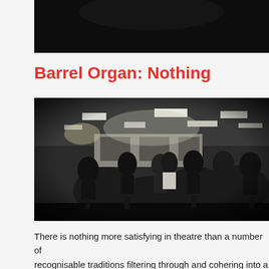[Figure (photo): Dark/black partial image at the top of the page, likely a cropped photo from above]
Barrel Organ: Nothing
[Figure (photo): Black and white fisheye photograph of a group of people sitting in chairs arranged in a circle or informal gathering in a room with fluorescent ceiling lights]
There is nothing more satisfying in theatre than a number of recognisable traditions filtering through and cohering into a